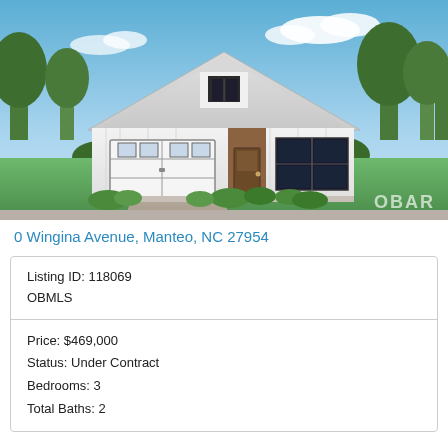[Figure (photo): Exterior rendering of a modern white farmhouse-style single-story home with a two-car garage, wood front door, large windows, green lawn, and trees. OBAR watermark in bottom right.]
0 Wingina Avenue, Manteo, NC 27954
| Listing ID: 118069 |
| OBMLS |
| Price: $469,000 |
| Status: Under Contract |
| Bedrooms: 3 |
| Total Baths: 2 |